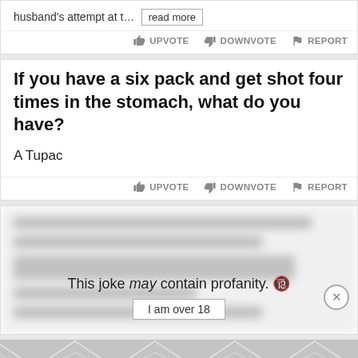husband's attempt at t…  read more
UPVOTE  DOWNVOTE  REPORT
If you have a six pack and get shot four times in the stomach, what do you have?
A Tupac
UPVOTE  DOWNVOTE  REPORT
This joke may contain profanity. 🔞
I am over 18
[Figure (other): Advertisement banner with gray geometric diamond/chevron tile pattern]